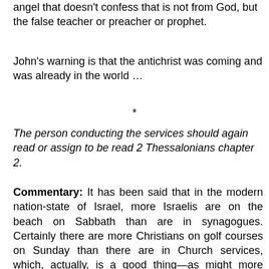angel that doesn't confess that is not from God, but the false teacher or preacher or prophet.
John's warning is that the antichrist was coming and was already in the world …
*
The person conducting the services should again read or assign to be read 2 Thessalonians chapter 2.
Commentary: It has been said that in the modern nation-state of Israel, more Israelis are on the beach on Sabbath than are in synagogues. Certainly there are more Christians on golf courses on Sunday than there are in Church services, which, actually, is a good thing—as might more Israelis being on the beach than in synagogues … it is not on the golf course or on the beach where either a spiritual or natural Israelite will hear